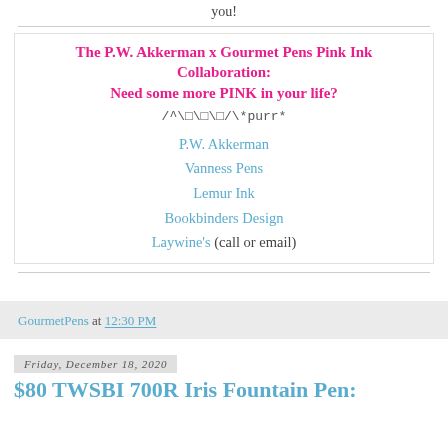you!
The P.W. Akkerman x Gourmet Pens Pink Ink Collaboration:
Need some more PINK in your life?
/^🐱^\*purr*
P.W. Akkerman
Vanness Pens
Lemur Ink
Bookbinders Design
Laywine's (call or email)
GourmetPens at 12:30 PM
Friday, December 18, 2020
$80 TWSBI 700R Iris Fountain Pen: